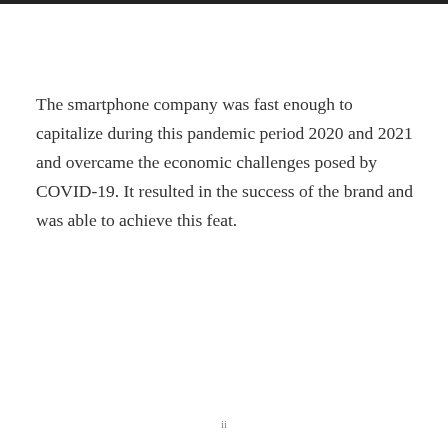The smartphone company was fast enough to capitalize during this pandemic period 2020 and 2021 and overcame the economic challenges posed by COVID-19. It resulted in the success of the brand and was able to achieve this feat.
ii